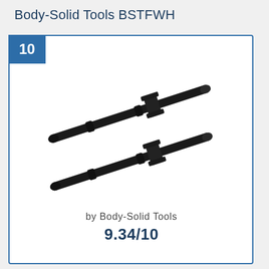Body-Solid Tools BSTFWH
[Figure (photo): Two black barbell storage pegs / spigots (BSTFWH) arranged diagonally on a white background, showing wall-mount brackets and cylindrical bar pegs.]
by Body-Solid Tools
9.34/10